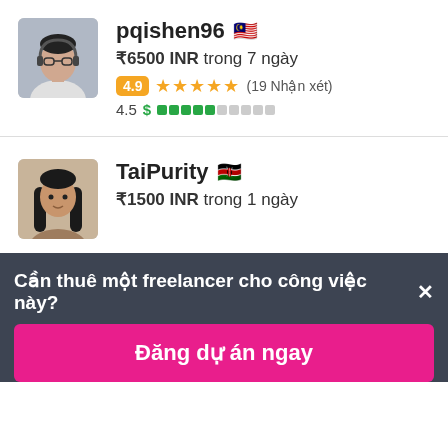[Figure (photo): Profile photo of pqishen96, person wearing headphones]
pqishen96 🇲🇾
₹6500 INR trong 7 ngày
4.9 ★★★★★ (19 Nhận xét)
4.5 $ ▮▮▮▮▮░░░░░
[Figure (photo): Profile photo of TaiPurity, woman with long dark hair]
TaiPurity 🇰🇪
₹1500 INR trong 1 ngày
Cần thuê một freelancer cho công việc này? ×
Đăng dự án ngay